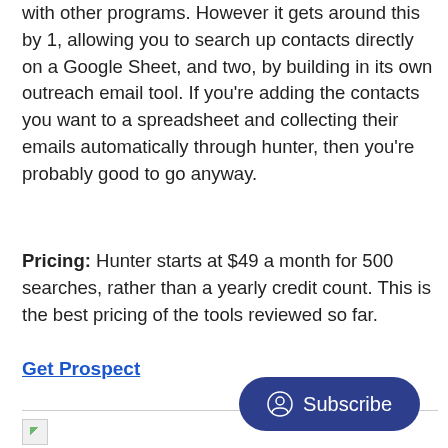with other programs. However it gets around this by 1, allowing you to search up contacts directly on a Google Sheet, and two, by building in its own outreach email tool. If you're adding the contacts you want to a spreadsheet and collecting their emails automatically through hunter, then you're probably good to go anyway.
Pricing: Hunter starts at $49 a month for 500 searches, rather than a yearly credit count. This is the best pricing of the tools reviewed so far.
Get Prospect
[Figure (other): Broken image placeholder at bottom of page with a Subscribe button overlay]